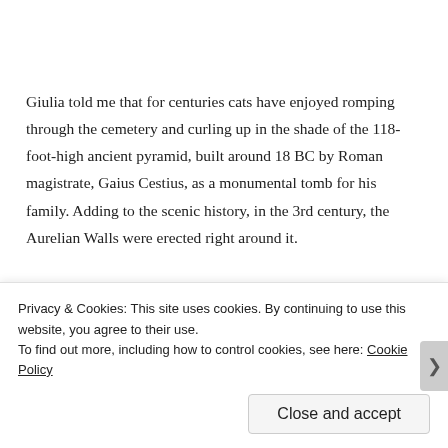Giulia told me that for centuries cats have enjoyed romping through the cemetery and curling up in the shade of the 118-foot-high ancient pyramid, built around 18 BC by Roman magistrate, Gaius Cestius, as a monumental tomb for his family. Adding to the scenic history, in the 3rd century, the Aurelian Walls were erected right around it.
The current cat sanctuary began in 1984 with one volunteer, Matilde. Horrified by how many cats around
Privacy & Cookies: This site uses cookies. By continuing to use this website, you agree to their use.
To find out more, including how to control cookies, see here: Cookie Policy